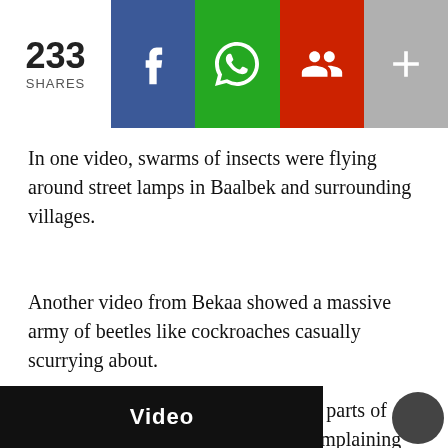233 SHARES
In one video, swarms of insects were flying around street lamps in Baalbek and surrounding villages.
Another video from Bekaa showed a massive army of beetles like cockroaches casually scurrying about.
On Friday afternoon, people in other parts of Lebanon, including Beirut, began complaining of tiny flying bugs and termites in their homes and mentioned having very itchy bug bites.
[Figure (screenshot): Partial video player bar at bottom of page with dark background and white text 'Video']